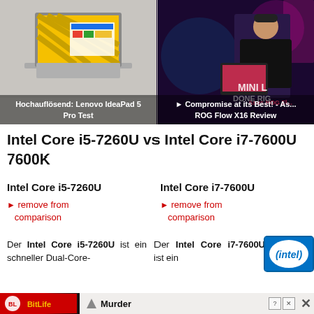[Figure (screenshot): Lenovo IdeaPad 5 Pro laptop thumbnail with yellow striped wallpaper on a gray background]
Hochauflösend: Lenovo IdeaPad 5 Pro Test
[Figure (screenshot): Asus ROG Flow X16 Review video thumbnail showing a person holding a gaming laptop with neon lighting]
► Compromise at its Best! - Asus ROG Flow X16 Review
Intel Core i5-7260U vs Intel Core i7-7600U 7600K
Intel Core i5-7260U
► remove from comparison
Intel Core i7-7600U
► remove from comparison
Der Intel Core i5-7260U ist ein schneller Dual-Core-
Der Intel Core i7-7600U ist ein
[Figure (logo): Intel logo on blue rounded square background]
[Figure (screenshot): BitLife advertisement banner]
[Figure (screenshot): Murder advertisement with close button]